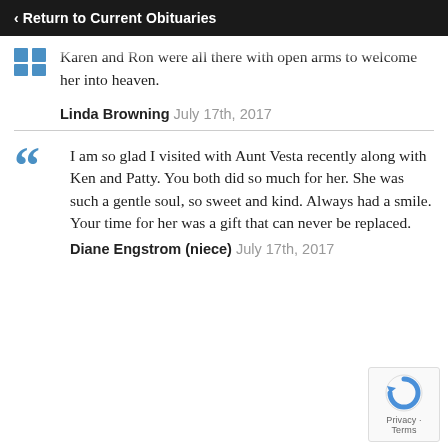‹ Return to Current Obituaries
Vesta was such a sweet people person. I know Pam, Doug, Karen and Ron were all there with open arms to welcome her into heaven.
Linda Browning July 17th, 2017
I am so glad I visited with Aunt Vesta recently along with Ken and Patty. You both did so much for her. She was such a gentle soul, so sweet and kind. Always had a smile. Your time for her was a gift that can never be replaced.
Diane Engstrom (niece) July 17th, 2017